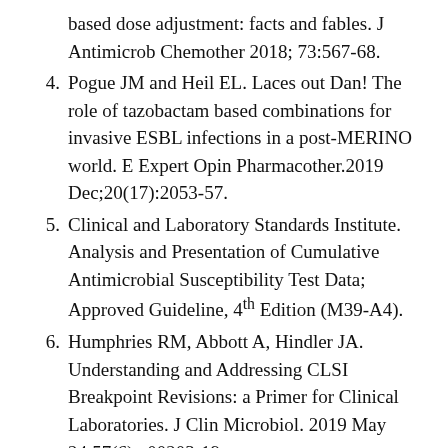based dose adjustment: facts and fables. J Antimicrob Chemother 2018; 73:567-68.
4. Pogue JM and Heil EL. Laces out Dan! The role of tazobactam based combinations for invasive ESBL infections in a post-MERINO world. E Expert Opin Pharmacother.2019 Dec;20(17):2053-57.
5. Clinical and Laboratory Standards Institute. Analysis and Presentation of Cumulative Antimicrobial Susceptibility Test Data; Approved Guideline, 4th Edition (M39-A4).
6. Humphries RM, Abbott A, Hindler JA. Understanding and Addressing CLSI Breakpoint Revisions: a Primer for Clinical Laboratories. J Clin Microbiol. 2019 May 24;57(6):e00203-19.